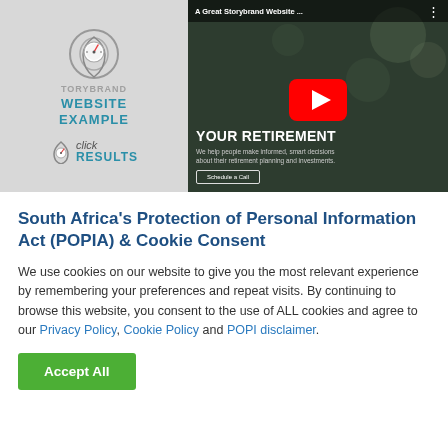[Figure (screenshot): YouTube video thumbnail showing a Click Results 'Storybrand Website Example' promotional image on the left and a retirement planning website screenshot with a YouTube play button overlay on the right.]
South Africa's Protection of Personal Information Act (POPIA) & Cookie Consent
We use cookies on our website to give you the most relevant experience by remembering your preferences and repeat visits. By continuing to browse this website, you consent to the use of ALL cookies and agree to our Privacy Policy, Cookie Policy and POPI disclaimer.